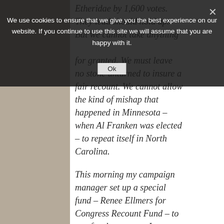Etheridae by 1,600 votes. They lead should hold up. But we cannot take anything for granted. We must leave no stone unturned to insure a fair recount. We cannot allow the kind of mishap that happened in Minnesota – when Al Franken was elected – to repeat itself in North Carolina.
We use cookies to ensure that we give you the best experience on our website. If you continue to use this site we will assume that you are happy with it.
This morning my campaign manager set up a special fund – Renee Ellmers for Congress Recount Fund – to pay for the recount. I never